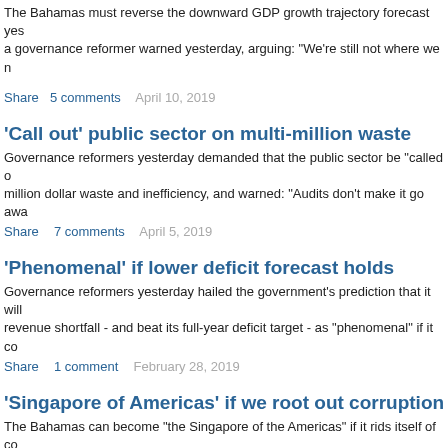The Bahamas must reverse the downward GDP growth trajectory forecast yes a governance reformer warned yesterday, arguing: “We’re still not where we n
Share   5 comments   April 10, 2019
‘Call out’ public sector on multi-million waste
Governance reformers yesterday demanded that the public sector be “called o million dollar waste and inefficiency, and warned: “Audits don't make it go awa
Share   7 comments   April 5, 2019
‘Phenomenal’ if lower deficit forecast holds
Governance reformers yesterday hailed the government’s prediction that it will revenue shortfall - and beat its full-year deficit target - as “phenomenal” if it co
Share   1 comment   February 28, 2019
‘Singapore of Americas’ if we root out corruption
The Bahamas can become “the Singapore of the Americas” if it rids itself of co governance and lack of vision, a prominent reform campaigner argued yester
Share   28 comments   February 8, 2019
DPM praised for putting country before politics
The deputy prime minister was yesterday praised by a governance reformer fo the country” over political gain through the government’s economic restructuri